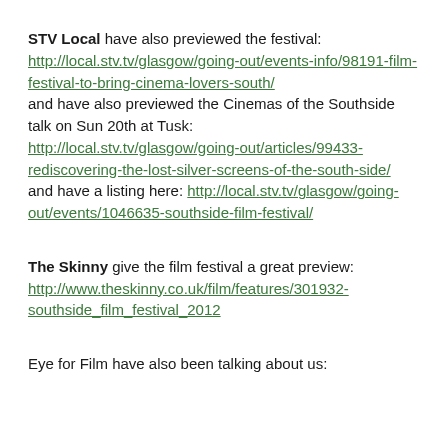STV Local have also previewed the festival: http://local.stv.tv/glasgow/going-out/events-info/98191-film-festival-to-bring-cinema-lovers-south/ and have also previewed the Cinemas of the Southside talk on Sun 20th at Tusk: http://local.stv.tv/glasgow/going-out/articles/99433-rediscovering-the-lost-silver-screens-of-the-south-side/ and have a listing here: http://local.stv.tv/glasgow/going-out/events/1046635-southside-film-festival/
The Skinny give the film festival a great preview: http://www.theskinny.co.uk/film/features/301932-southside_film_festival_2012
Eye for Film have also been talking about us: